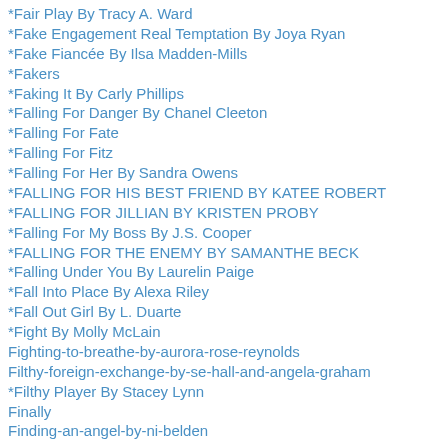*Fair Play By Tracy A. Ward
*Fake Engagement Real Temptation By Joya Ryan
*Fake Fiancée By Ilsa Madden-Mills
*Fakers
*Faking It By Carly Phillips
*Falling For Danger By Chanel Cleeton
*Falling For Fate
*Falling For Fitz
*Falling For Her By Sandra Owens
*FALLING FOR HIS BEST FRIEND BY KATEE ROBERT
*FALLING FOR JILLIAN BY KRISTEN PROBY
*Falling For My Boss By J.S. Cooper
*FALLING FOR THE ENEMY BY SAMANTHE BECK
*Falling Under You By Laurelin Paige
*Fall Into Place By Alexa Riley
*Fall Out Girl By L. Duarte
*Fight By Molly McLain
Fighting-to-breathe-by-aurora-rose-reynolds
Filthy-foreign-exchange-by-se-hall-and-angela-graham
*Filthy Player By Stacey Lynn
Finally
Finding-an-angel-by-ni-belden